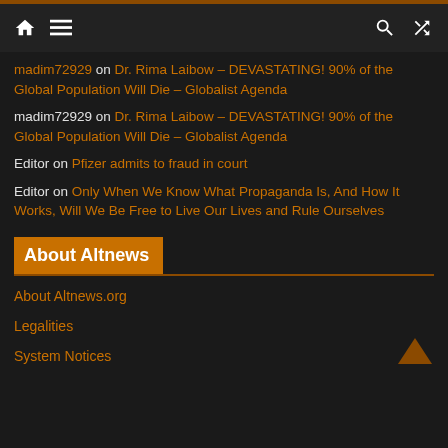Navigation bar with home, menu, search, and shuffle icons
madim72929 on Dr. Rima Laibow – DEVASTATING! 90% of the Global Population Will Die – Globalist Agenda
madim72929 on Dr. Rima Laibow – DEVASTATING! 90% of the Global Population Will Die – Globalist Agenda
Editor on Pfizer admits to fraud in court
Editor on Only When We Know What Propaganda Is, And How It Works, Will We Be Free to Live Our Lives and Rule Ourselves
About Altnews
About Altnews.org
Legalities
System Notices